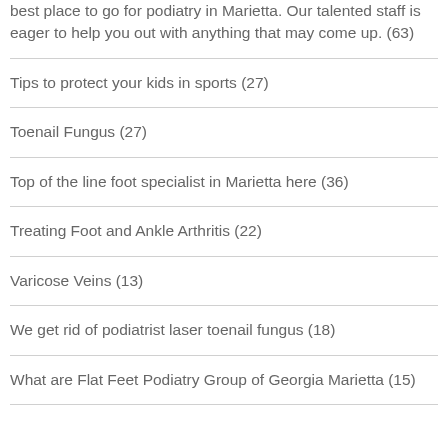best place to go for podiatry in Marietta. Our talented staff is eager to help you out with anything that may come up. (63)
Tips to protect your kids in sports (27)
Toenail Fungus (27)
Top of the line foot specialist in Marietta here (36)
Treating Foot and Ankle Arthritis (22)
Varicose Veins (13)
We get rid of podiatrist laser toenail fungus (18)
What are Flat Feet Podiatry Group of Georgia Marietta (15)